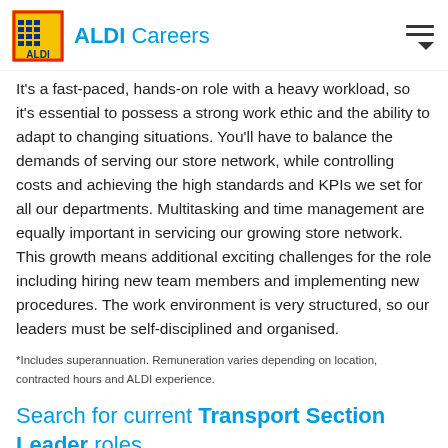ALDI Careers
It's a fast-paced, hands-on role with a heavy workload, so it's essential to possess a strong work ethic and the ability to adapt to changing situations. You'll have to balance the demands of serving our store network, while controlling costs and achieving the high standards and KPIs we set for all our departments. Multitasking and time management are equally important in servicing our growing store network. This growth means additional exciting challenges for the role including hiring new team members and implementing new procedures. The work environment is very structured, so our leaders must be self-disciplined and organised.
*Includes superannuation. Remuneration varies depending on location, contracted hours and ALDI experience.
Search for current Transport Section Leader roles